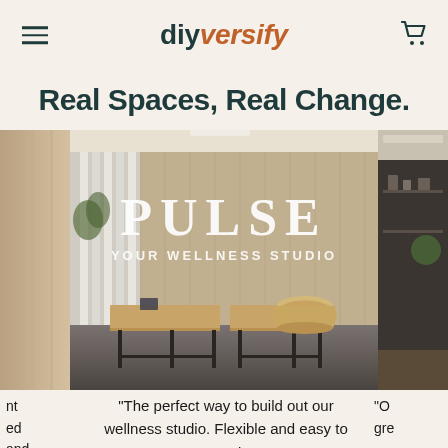diyversify
Real Spaces, Real Change.
[Figure (photo): Interior photo of a wellness studio reception area showing 'PULSE YOUR WELLNESS STUDIO' sign on a wood-paneled wall, with a wooden desk/bench and decorative vase. Partial views of other spaces on left and right sides.]
"The perfect way to build out our wellness studio. Flexible and easy to customize"